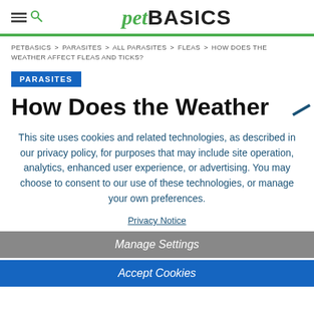pet BASICS
PETBASICS > PARASITES > ALL PARASITES > FLEAS > HOW DOES THE WEATHER AFFECT FLEAS AND TICKS?
PARASITES
How Does the Weather
This site uses cookies and related technologies, as described in our privacy policy, for purposes that may include site operation, analytics, enhanced user experience, or advertising. You may choose to consent to our use of these technologies, or manage your own preferences.
Privacy Notice
Manage Settings
Accept Cookies